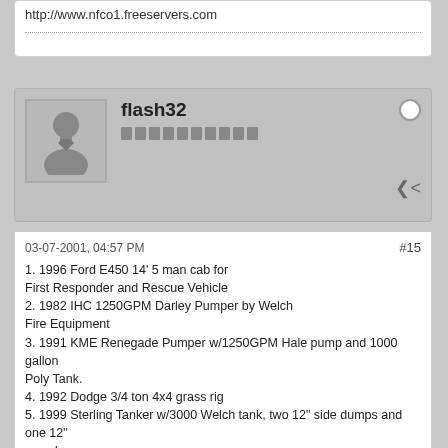http://www.nfco1.freeservers.com
flash32
03-07-2001, 04:57 PM
#15
1. 1996 Ford E450 14' 5 man cab for First Responder and Rescue Vehicle
2. 1982 IHC 1250GPM Darley Pumper by Welch Fire Equipment
3. 1991 KME Renegade Pumper w/1250GPM Hale pump and 1000 gallon Poly Tank.
4. 1992 Dodge 3/4 ton 4x4 grass rig
5. 1999 Sterling Tanker w/3000 Welch tank, two 12" side dumps and one 12" rear dump
6. 1990 Ford L8000 Tanker w/3000 Welch tank, two 12" side dumps and one 12" rear dump
------------------
Adam J. Dorn

These are my opinions and not of any group or org. that i belong to.